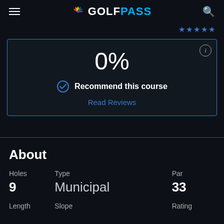GOLFPASS
[Figure (screenshot): Partial star rating row cropped at top of page, showing blue star icons]
0%
Recommend this course
Read Reviews
About
| Holes | Type | Par |
| --- | --- | --- |
| 9 | Municipal | 33 |
| Length | Slope | Rating |